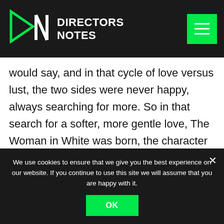DIRECTORS NOTES
would say, and in that cycle of love versus lust, the two sides were never happy, always searching for more. So in that search for a softer, more gentle love, The Woman in White was born, the character that you see in Pale, dressed in all white, pouring the glass of water.
When we wrote the feature film we brought the Woman in White with us and she started to
We use cookies to ensure that we give you the best experience on our website. If you continue to use this site we will assume that you are happy with it.